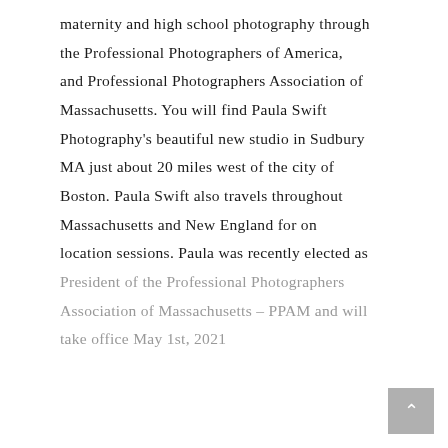maternity and high school photography through the Professional Photographers of America, and Professional Photographers Association of Massachusetts. You will find Paula Swift Photography's beautiful new studio in Sudbury MA just about 20 miles west of the city of Boston. Paula Swift also travels throughout Massachusetts and New England for on location sessions. Paula was recently elected as President of the Professional Photographers Association of Massachusetts – PPAM and will take office May 1st, 2021